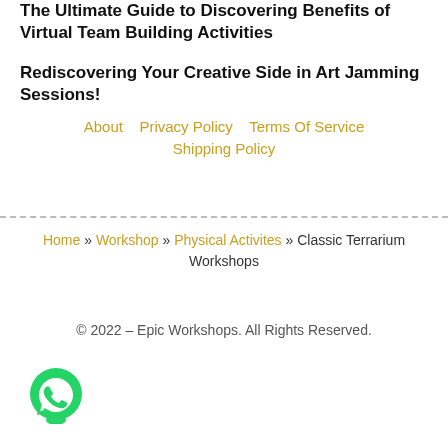The Ultimate Guide to Discovering Benefits of Virtual Team Building Activities
Rediscovering Your Creative Side in Art Jamming Sessions!
About   Privacy Policy   Terms Of Service   Shipping Policy
Home » Workshop » Physical Activites » Classic Terrarium Workshops
© 2022 – Epic Workshops. All Rights Reserved.
[Figure (logo): WhatsApp green phone icon]